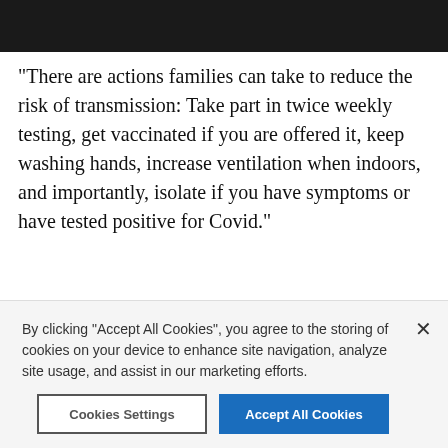[Figure (screenshot): Dark top navigation bar of a news website]
"There are actions families can take to reduce the risk of transmission: Take part in twice weekly testing, get vaccinated if you are offered it, keep washing hands, increase ventilation when indoors, and importantly, isolate if you have symptoms or have tested positive for Covid."
Cases of Covid-19 in your local area
December 19-25
Cases per 100k in the last 7 days | Cases in the last 7 days
By clicking “Accept All Cookies”, you agree to the storing of cookies on your device to enhance site navigation, analyze site usage, and assist in our marketing efforts.